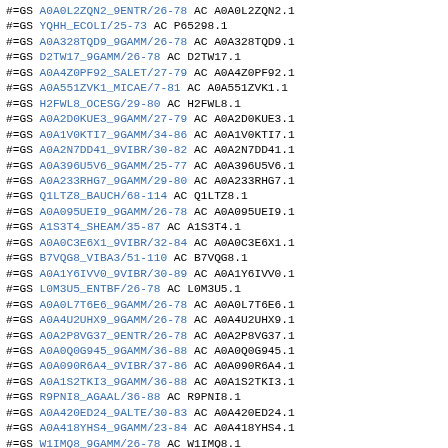#=GS A0A0L2ZQN2_9ENTR/26-78   AC A0A0L2ZQN2.1
#=GS YQHH_ECOLI/25-73   AC P65298.1
#=GS A0A328TQD9_9GAMM/26-78   AC A0A328TQD9.1
#=GS D2TW17_9GAMM/26-78   AC D2TW17.1
#=GS A0A4Z0PF92_SALET/27-79   AC A0A4Z0PF92.1
#=GS A0A551ZVK1_MICAE/7-81   AC A0A551ZVK1.1
#=GS H2FWL8_OCESG/29-80   AC H2FWL8.1
#=GS A0A2D0KUE3_9GAMM/27-79   AC A0A2D0KUE3.1
#=GS A0A1V0KTI7_9GAMM/34-86   AC A0A1V0KTI7.1
#=GS A0A2N7DD41_9VIBR/30-82   AC A0A2N7DD41.1
#=GS A0A396U5V6_9GAMM/25-77   AC A0A396U5V6.1
#=GS A0A233RHG7_9GAMM/29-80   AC A0A233RHG7.1
#=GS Q1LTZ8_BAUCH/68-114   AC Q1LTZ8.1
#=GS A0A095UEI9_9GAMM/26-78   AC A0A095UEI9.1
#=GS A1S3T4_SHEAM/35-87   AC A1S3T4.1
#=GS A0A0C3E6X1_9VIBR/32-84   AC A0A0C3E6X1.1
#=GS B7VQG8_VIBA3/51-110   AC B7VQG8.1
#=GS A0A1Y6IVV0_9VIBR/30-89   AC A0A1Y6IVV0.1
#=GS L0M3U5_ENTBF/26-78   AC L0M3U5.1
#=GS A0A0L7T6E6_9GAMM/26-78   AC A0A0L7T6E6.1
#=GS A0A4U2UHX9_9GAMM/26-78   AC A0A4U2UHX9.1
#=GS A0A2P8VG37_9ENTR/26-78   AC A0A2P8VG37.1
#=GS A0A0Q0G945_9GAMM/36-88   AC A0A0Q0G945.1
#=GS A0A090R6A4_9VIBR/37-86   AC A0A090R6A4.1
#=GS A0A1S2TKI3_9GAMM/36-88   AC A0A1S2TKI3.1
#=GS R9PNI8_AGAAL/36-88   AC R9PNI8.1
#=GS A0A420ED24_9ALTE/30-83   AC A0A420ED24.1
#=GS A0A418YHS4_9GAMM/23-84   AC A0A418YHS4.1
#=GS W1IMQ8_9GAMM/26-78   AC W1IMQ8.1
#=GS Q6LJB4_PHOPR/35-87   AC Q6LJB4.1
#=GS A0A2C6DPH4_9GAMM/26-69   AC A0A2C6DPH4.1
#=GS D0Z2W3_PHODD/32-84   AC D0Z2W3.1
#=GS D0I5E6_GRIHO/29-81   AC D0I5E6.1